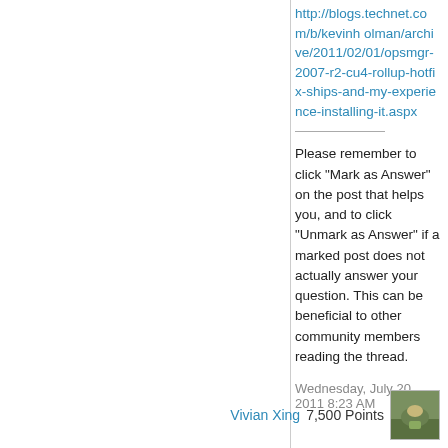http://blogs.technet.com/b/kevinholman/archive/2011/02/01/opsmgr-2007-r2-cu4-rollup-hotfix-ships-and-my-experience-installing-it.aspx
Please remember to click “Mark as Answer” on the post that helps you, and to click “Unmark as Answer” if a marked post does not actually answer your question. This can be beneficial to other community members reading the thread.
Wednesday, July 20, 2011 8:23 AM
Vivian Xing
7,500 Points